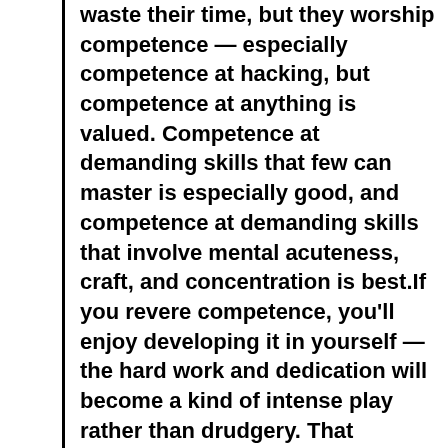waste their time, but they worship competence — especially competence at hacking, but competence at anything is valued. Competence at demanding skills that few can master is especially good, and competence at demanding skills that involve mental acuteness, craft, and concentration is best.If you revere competence, you'll enjoy developing it in yourself — the hard work and dedication will become a kind of intense play rather than drudgery. That attitude is vital to becoming a hacker.